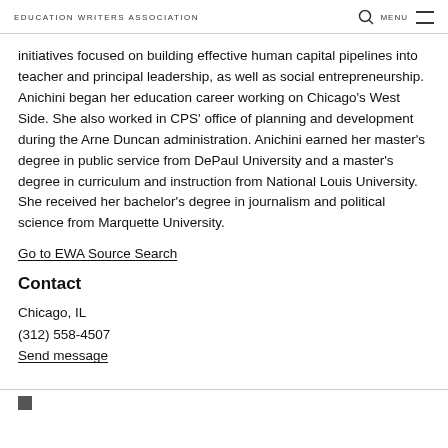EDUCATION WRITERS ASSOCIATION
initiatives focused on building effective human capital pipelines into teacher and principal leadership, as well as social entrepreneurship. Anichini began her education career working on Chicago’s West Side. She also worked in CPS’ office of planning and development during the Arne Duncan administration. Anichini earned her master’s degree in public service from DePaul University and a master’s degree in curriculum and instruction from National Louis University. She received her bachelor’s degree in journalism and political science from Marquette University.
Go to EWA Source Search
Contact
Chicago, IL
(312) 558-4507
Send message